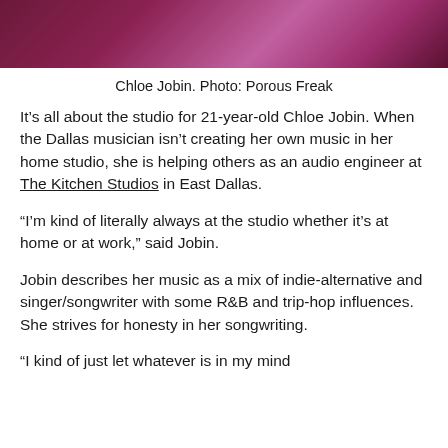[Figure (photo): Cropped photo of Chloe Jobin with a pink/magenta toned background]
Chloe Jobin. Photo: Porous Freak
It’s all about the studio for 21-year-old Chloe Jobin. When the Dallas musician isn’t creating her own music in her home studio, she is helping others as an audio engineer at The Kitchen Studios in East Dallas.
“I’m kind of literally always at the studio whether it’s at home or at work,” said Jobin.
Jobin describes her music as a mix of indie-alternative and singer/songwriter with some R&B and trip-hop influences. She strives for honesty in her songwriting.
“I kind of just let whatever is in my mind